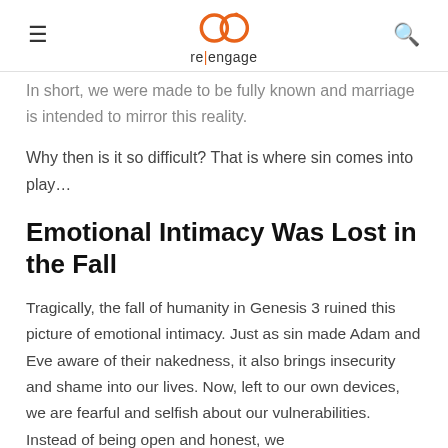re|engage
In short, we were made to be fully known and marriage is intended to mirror this reality.
Why then is it so difficult? That is where sin comes into play…
Emotional Intimacy Was Lost in the Fall
Tragically, the fall of humanity in Genesis 3 ruined this picture of emotional intimacy. Just as sin made Adam and Eve aware of their nakedness, it also brings insecurity and shame into our lives. Now, left to our own devices, we are fearful and selfish about our vulnerabilities. Instead of being open and honest, we